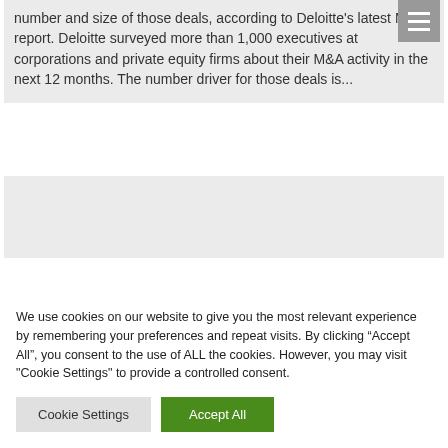number and size of those deals, according to Deloitte's latest M&A report. Deloitte surveyed more than 1,000 executives at corporations and private equity firms about their M&A activity in the next 12 months. The number driver for those deals is...
[Figure (other): Gray placeholder card/image block]
We use cookies on our website to give you the most relevant experience by remembering your preferences and repeat visits. By clicking “Accept All”, you consent to the use of ALL the cookies. However, you may visit "Cookie Settings" to provide a controlled consent.